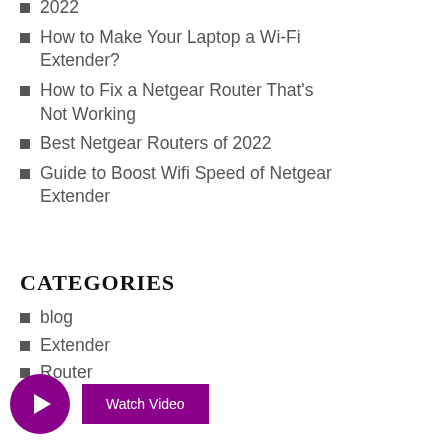The 5 Best Wireless Wi-Fi Routers of 2022
How to Make Your Laptop a Wi-Fi Extender?
How to Fix a Netgear Router That's Not Working
Best Netgear Routers of 2022
Guide to Boost Wifi Speed of Netgear Extender
CATEGORIES
blog
Extender
Router